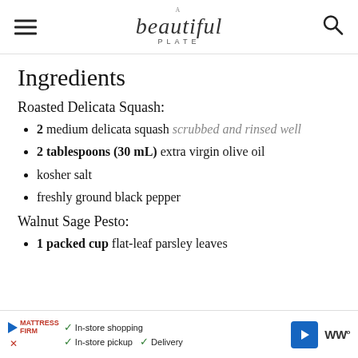A Beautiful Plate
Ingredients
Roasted Delicata Squash:
2 medium delicata squash scrubbed and rinsed well
2 tablespoons (30 mL) extra virgin olive oil
kosher salt
freshly ground black pepper
Walnut Sage Pesto:
1 packed cup flat-leaf parsley leaves
In-store shopping  In-store pickup  Delivery